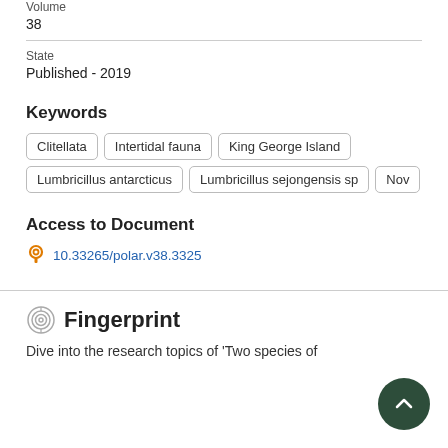Volume
38
State
Published - 2019
Keywords
Clitellata
Intertidal fauna
King George Island
Lumbricillus antarcticus
Lumbricillus sejongensis sp
Nov
Access to Document
10.33265/polar.v38.3325
Fingerprint
Dive into the research topics of 'Two species of